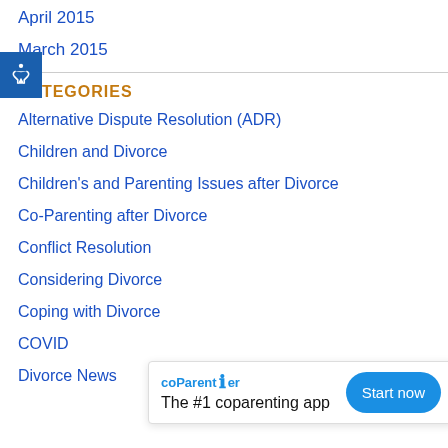April 2015
March 2015
CATEGORIES
Alternative Dispute Resolution (ADR)
Children and Divorce
Children's and Parenting Issues after Divorce
Co-Parenting after Divorce
Conflict Resolution
Considering Divorce
Coping with Divorce
COVID
Divorce News
[Figure (other): coParenter app advertisement popup with text 'The #1 coparenting app' and a blue 'Start now' button]